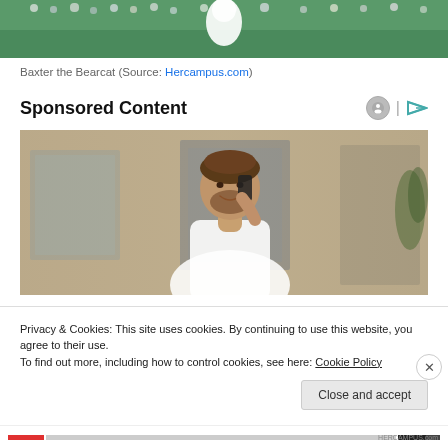[Figure (photo): Top portion of a basketball arena/gym scene with green court and crowd in background, showing a mascot figure in white.]
Baxter the Bearcat (Source: Hercampus.com)
Sponsored Content
[Figure (photo): A smiling bearded man in a white shirt talking on a mobile phone, standing in a bright office or home environment.]
Privacy & Cookies: This site uses cookies. By continuing to use this website, you agree to their use.
To find out more, including how to control cookies, see here: Cookie Policy
Close and accept